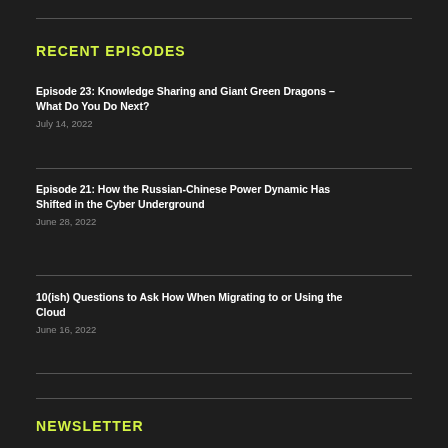RECENT EPISODES
Episode 23: Knowledge Sharing and Giant Green Dragons – What Do You Do Next?
July 14, 2022
Episode 21: How the Russian-Chinese Power Dynamic Has Shifted in the Cyber Underground
June 28, 2022
10(ish) Questions to Ask How When Migrating to or Using the Cloud
June 16, 2022
NEWSLETTER